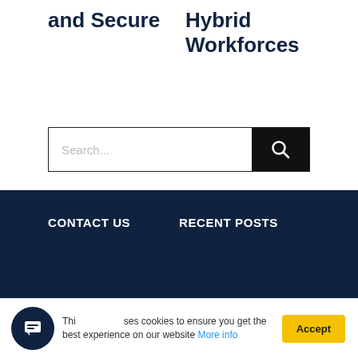and Secure
Hybrid Workforces
[Figure (screenshot): Search bar with text input placeholder 'Search...' and a black search button with magnifying glass icon]
CONTACT US
RECENT POSTS
This website uses cookies to ensure you get the best experience on our website More info
Accept